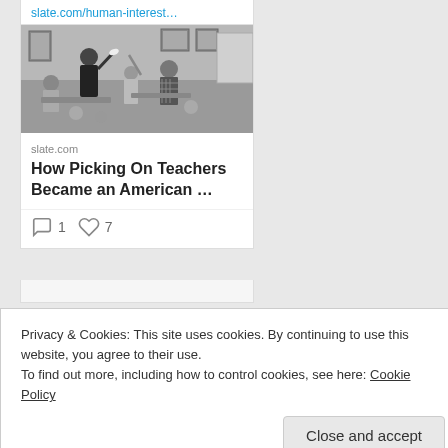slate.com/human-interest…
[Figure (photo): Black and white photograph of a teacher and students in a classroom, with children raising hands and papers]
slate.com
How Picking On Teachers Became an American …
1 comment, 7 likes
Privacy & Cookies: This site uses cookies. By continuing to use this website, you agree to their use.
To find out more, including how to control cookies, see here: Cookie Policy
Close and accept